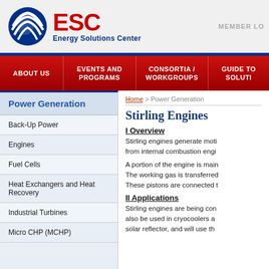ESC Energy Solutions Center | MEMBER LO
[Figure (logo): ESC Energy Solutions Center logo with circular striped globe icon in blue, ESC in red, Energy Solutions Center in blue]
ABOUT US
EVENTS AND PROGRAMS
CONSORTIA / WORKGROUPS
GUIDE TO SOLUTI
Power Generation
Back-Up Power
Engines
Fuel Cells
Heat Exchangers and Heat Recovery
Industrial Turbines
Micro CHP (MCHP)
Home > Power Generation
Stirling Engines
I Overview
Stirling engines generate moti from internal combustion engi
A portion of the engine is main The working gas is transferred These pistons are connected t
II Applications
Stirling engines are being con also be used in cryocoolers a solar reflector, and will use th